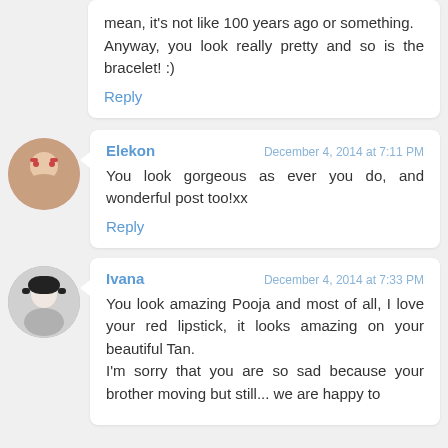mean, it's not like 100 years ago or something.
Anyway, you look really pretty and so is the bracelet! :)
Reply
Elekon
December 4, 2014 at 7:11 PM
You look gorgeous as ever you do, and wonderful post too!xx
Reply
Ivana
December 4, 2014 at 7:33 PM
You look amazing Pooja and most of all, I love your red lipstick, it looks amazing on your beautiful Tan.
I'm sorry that you are so sad because your brother moving but still... we are happy to